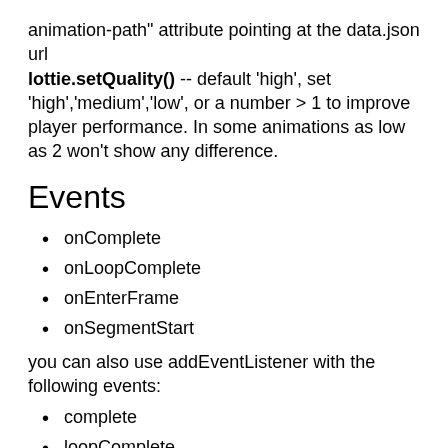animation-path" attribute pointing at the data.json url lottie.setQuality() -- default 'high', set 'high','medium','low', or a number > 1 to improve player performance. In some animations as low as 2 won't show any difference.
Events
onComplete
onLoopComplete
onEnterFrame
onSegmentStart
you can also use addEventListener with the following events:
complete
loopComplete
enterFrame
segmentStart
config_ready (when initial config is done)
data_ready (when all parts of the animation have been loaded)